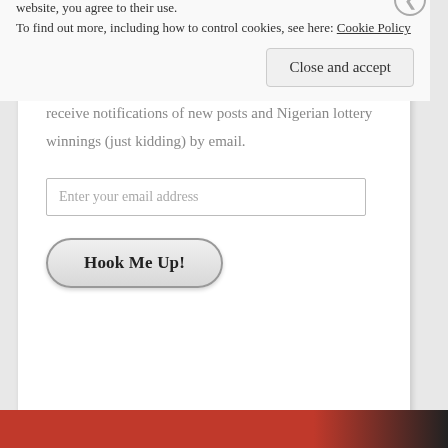May I Have Some More?
Enter your email address to subscribe to this blog and receive notifications of new posts and Nigerian lottery winnings (just kidding) by email.
Enter your email address
Hook Me Up!
Privacy & Cookies: This site uses cookies. By continuing to use this website, you agree to their use.
To find out more, including how to control cookies, see here: Cookie Policy
Close and accept